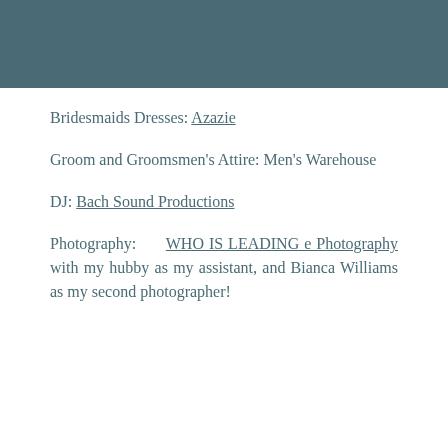[Figure (other): Teal/dark cyan header bar at top of page]
Bridesmaids Dresses: Azazie
Groom and Groomsmen's Attire: Men's Warehouse
DJ: Bach Sound Productions
Photography: WHO IS LEADING e Photography with my hubby as my assistant, and Bianca Williams as my second photographer!